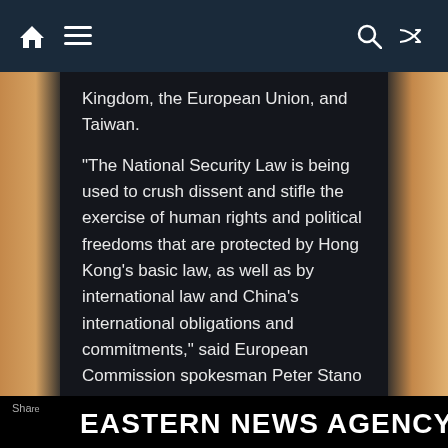Eastern News Agency — navigation bar with home, menu, search, shuffle icons
Kingdom, the European Union, and Taiwan.
“The National Security Law is being used to crush dissent and stifle the exercise of human rights and political freedoms that are protected by Hong Kong’s basic law, as well as by international law and China’s international obligations and commitments,” said European Commission spokesman Peter Stano on Wednesday, adding that the EU called for the “immediate release” of those arrested.
[ad_2]
SOURCE NEWS
EASTERN NEWS AGENCY (E